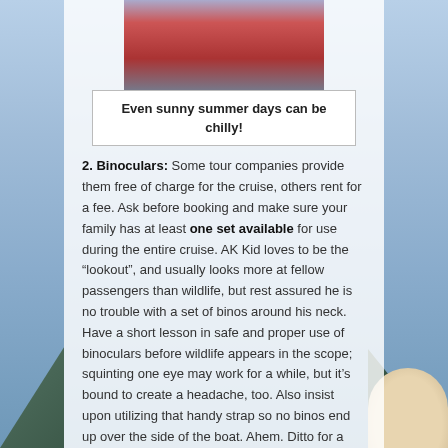[Figure (photo): Person in red top on a boat deck, cropped photo]
Even sunny summer days can be chilly!
2. Binoculars: Some tour companies provide them free of charge for the cruise, others rent for a fee. Ask before booking and make sure your family has at least one set available for use during the entire cruise. AK Kid loves to be the “lookout”, and usually looks more at fellow passengers than wildlife, but rest assured he is no trouble with a set of binos around his neck. Have a short lesson in safe and proper use of binoculars before wildlife appears in the scope; squinting one eye may work for a while, but it’s bound to create a headache, too. Also insist upon utilizing that handy strap so no binos end up over the side of the boat. Ahem. Ditto for a camera. Give ’em a chance to record the day their own way!
3. Food: Depending upon the cruise, your family might